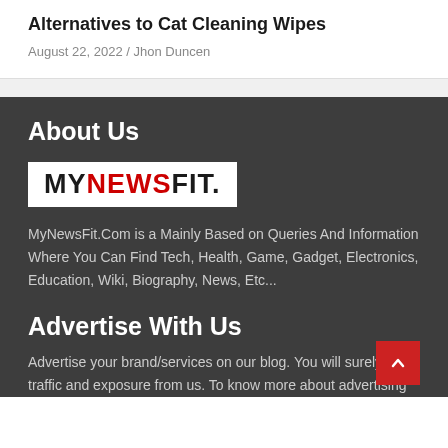Alternatives to Cat Cleaning Wipes
August 22, 2022 / Jhon Duncen
About Us
[Figure (logo): MyNewsFit. logo — MY in black bold, NEWS in red bold, FIT. in black bold, white background]
MyNewsFit.Com is a Mainly Based on Queries And Information Where You Can Find Tech, Health, Game, Gadget, Electronics, Education, Wiki, Biography, News, Etc...
Advertise With Us
Advertise your brand/services on our blog. You will surely get traffic and exposure from us. To know more about advertising